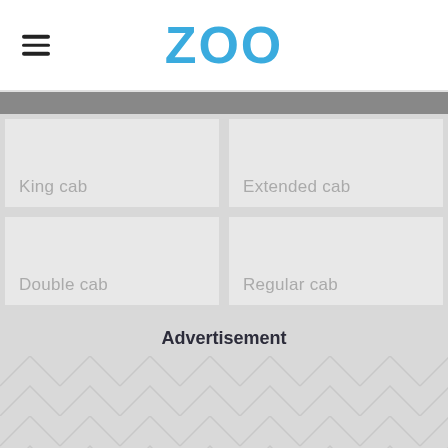ZOO
King cab
Extended cab
Double cab
Regular cab
Advertisement